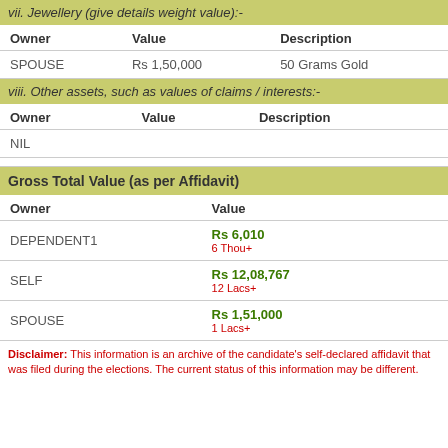vii. Jewellery (give details weight value):-
| Owner | Value | Description |
| --- | --- | --- |
| SPOUSE | Rs 1,50,000 | 50 Grams Gold |
viii. Other assets, such as values of claims / interests:-
| Owner | Value | Description |
| --- | --- | --- |
| NIL |  |  |
Gross Total Value (as per Affidavit)
| Owner | Value |
| --- | --- |
| DEPENDENT1 | Rs 6,010
6 Thou+ |
| SELF | Rs 12,08,767
12 Lacs+ |
| SPOUSE | Rs 1,51,000
1 Lacs+ |
Disclaimer: This information is an archive of the candidate's self-declared affidavit that was filed during the elections. The current status of this information may be different.